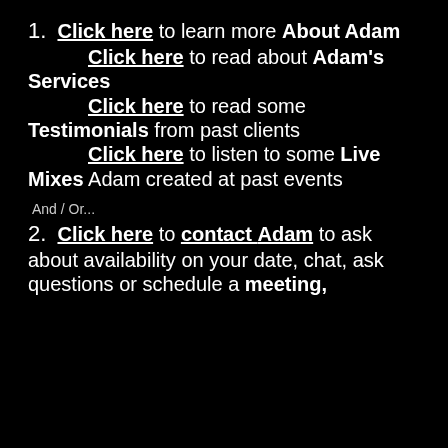1. Click here to learn more About Adam
            Click here to read about Adam's Services
            Click here to read some Testimonials from past clients
            Click here to listen to some Live Mixes Adam created at past events
And / Or...
2. Click here to contact Adam to ask about availability on your date, chat, ask questions or schedule a meeting,